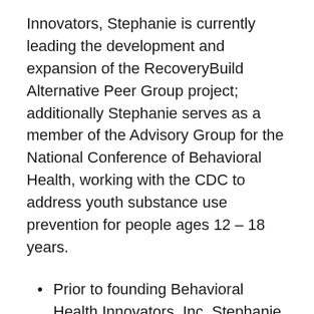Innovators, Stephanie is currently leading the development and expansion of the RecoveryBuild Alternative Peer Group project; additionally Stephanie serves as a member of the Advisory Group for the National Conference of Behavioral Health, working with the CDC to address youth substance use prevention for people ages 12 – 18 years.
Prior to founding Behavioral Health Innovators, Inc. Stephanie was a practicing attorney and mediator concentrating in medical, elder and disability law.